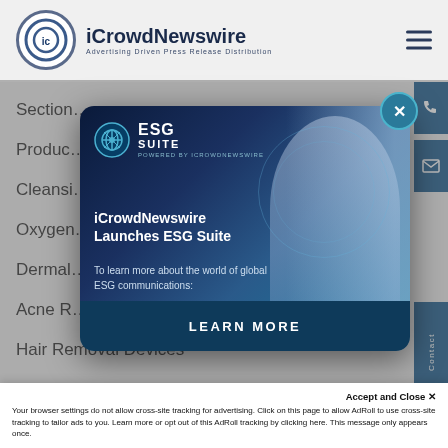iCrowdNewswire — Advertising Driven Press Release Distribution
Section…
Produc…
Cleansi…
Oxygen…
Dermal…
Acne R…
Hair Removal Devices
[Figure (screenshot): ESG Suite advertisement modal popup. Shows ESG Suite logo at top left, a woman in background graphic, text 'iCrowdNewswire Launches ESG Suite' as headline, subtext 'To learn more about the world of global ESG communications:', and a 'LEARN MORE' button at the bottom. There is an X close button in the top right corner of the modal.]
Accept and Close ✕
Your browser settings do not allow cross-site tracking for advertising. Click on this page to allow AdRoll to use cross-site tracking to tailor ads to you. Learn more or opt out of this AdRoll tracking by clicking here. This message only appears once.